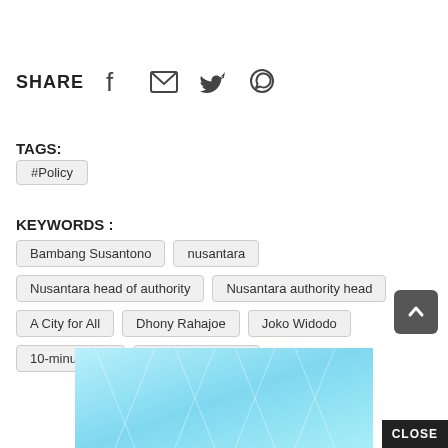SHARE
TAGS:
#Policy
KEYWORDS :
Bambang Susantono
nusantara
Nusantara head of authority
Nusantara authority head
A City for All
Dhony Rahajoe
Joko Widodo
10-minute city
New state capital
[Figure (screenshot): Partial view of a cyan/light-blue graphic or banner at the bottom of the page, partially cropped, with a CLOSE button overlay]